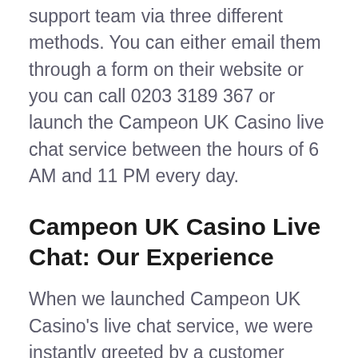You can contact the Campeon Casino support team via three different methods. You can either email them through a form on their website or you can call 0203 3189 367 or launch the Campeon UK Casino live chat service between the hours of 6 AM and 11 PM every day.
Campeon UK Casino Live Chat: Our Experience
When we launched Campeon UK Casino's live chat service, we were instantly greeted by a customer support agent. When speaking with the site's customer support agents, we found